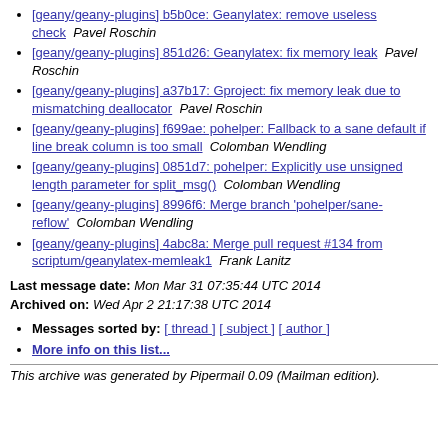[geany/geany-plugins] b5b0ce: Geanylatex: remove useless check   Pavel Roschin
[geany/geany-plugins] 851d26: Geanylatex: fix memory leak   Pavel Roschin
[geany/geany-plugins] a37b17: Gproject: fix memory leak due to mismatching deallocator   Pavel Roschin
[geany/geany-plugins] f699ae: pohelper: Fallback to a sane default if line break column is too small   Colomban Wendling
[geany/geany-plugins] 0851d7: pohelper: Explicitly use unsigned length parameter for split_msg()   Colomban Wendling
[geany/geany-plugins] 8996f6: Merge branch 'pohelper/sane-reflow'  Colomban Wendling
[geany/geany-plugins] 4abc8a: Merge pull request #134 from scriptum/geanylatex-memleak1   Frank Lanitz
Last message date: Mon Mar 31 07:35:44 UTC 2014
Archived on: Wed Apr 2 21:17:38 UTC 2014
Messages sorted by: [ thread ] [ subject ] [ author ]
More info on this list...
This archive was generated by Pipermail 0.09 (Mailman edition).